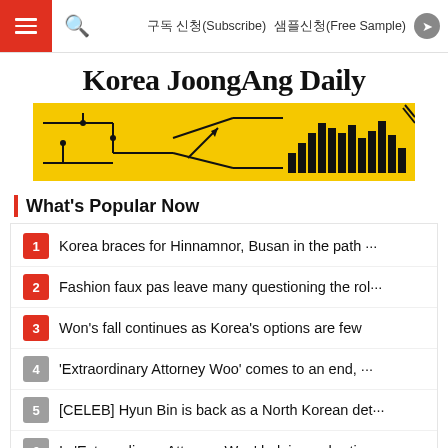구독 신청(Subscribe)  샘플신청(Free Sample)
Korea JoongAng Daily
[Figure (illustration): Yellow advertisement banner with black circuit board and bar chart pattern design]
What's Popular Now
1 Korea braces for Hinnamnor, Busan in the path ···
2 Fashion faux pas leave many questioning the rol···
3 Won's fall continues as Korea's options are few
4 'Extraordinary Attorney Woo' comes to an end, ···
5 [CELEB] Hyun Bin is back as a North Korean det···
6 Is 'Extraordinary Attorney Woo' helping or hurti···
7 Seoul Philharmonic Orchestra appoints van Zwe···